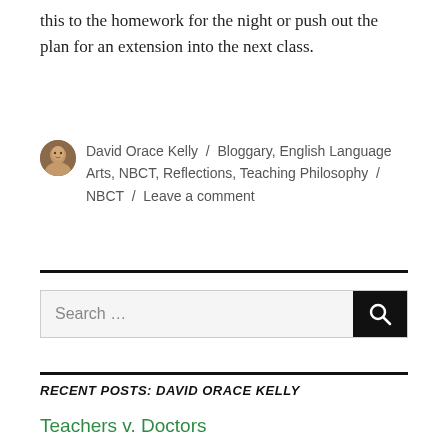this to the homework for the night or push out the plan for an extension into the next class.
David Orace Kelly / Bloggary, English Language Arts, NBCT, Reflections, Teaching Philosophy / NBCT / Leave a comment
Search …
RECENT POSTS: DAVID ORACE KELLY
Teachers v. Doctors